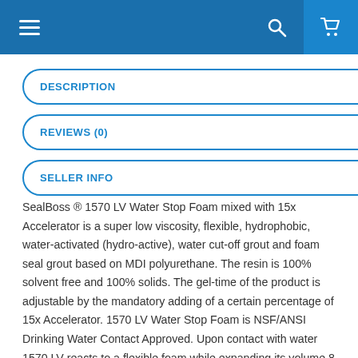[Figure (screenshot): Navigation bar with hamburger menu on the left, search icon in the center-right, and cart icon on the far right. Blue background.]
DESCRIPTION
REVIEWS (0)
SELLER INFO
SealBoss ® 1570 LV Water Stop Foam mixed with 15x Accelerator is a super low viscosity, flexible, hydrophobic, water-activated (hydro-active), water cut-off grout and foam seal grout based on MDI polyurethane. The resin is 100% solvent free and 100% solids. The gel-time of the product is adjustable by the mandatory adding of a certain percentage of 15x Accelerator. 1570 LV Water Stop Foam is NSF/ANSI Drinking Water Contact Approved. Upon contact with water 1570 LV reacts to a flexible foam while expanding its volume 8 to 25 times. The cured material is of a constant volume. Since water is not a component of the foam structure, the cured material is essentially not effected by water or dryness. The reacted material